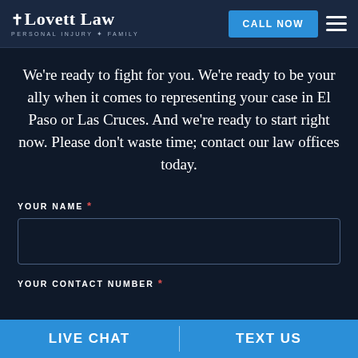Lovett Law — PERSONAL INJURY & FAMILY | CALL NOW
We're ready to fight for you. We're ready to be your ally when it comes to representing your case in El Paso or Las Cruces. And we're ready to start right now. Please don't waste time; contact our law offices today.
YOUR NAME *
YOUR CONTACT NUMBER *
LIVE CHAT | TEXT US